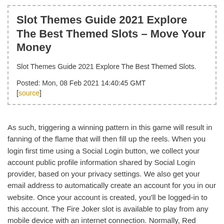Slot Themes Guide 2021 Explore The Best Themed Slots – Move Your Money
Slot Themes Guide 2021 Explore The Best Themed Slots.
Posted: Mon, 08 Feb 2021 14:40:45 GMT
[source]
As such, triggering a winning pattern in this game will result in fanning of the flame that will then fill up the reels. When you login first time using a Social Login button, we collect your account public profile information shared by Social Login provider, based on your privacy settings. We also get your email address to automatically create an account for you in our website. Once your account is created, you'll be logged-in to this account. The Fire Joker slot is available to play from any mobile device with an internet connection. Normally, Red Lucky Sevens are here as well and are followed by Stars and Bar